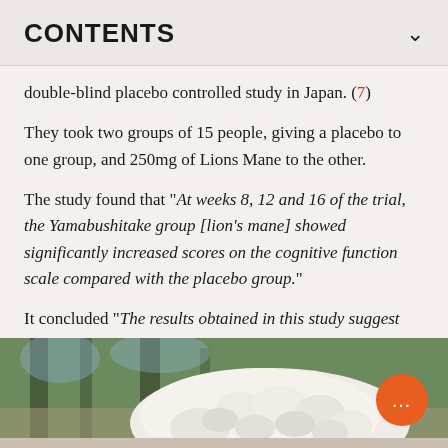CONTENTS
double-blind placebo controlled study in Japan. (7)
They took two groups of 15 people, giving a placebo to one group, and 250mg of Lions Mane to the other.
The study found that "At weeks 8, 12 and 16 of the trial, the Yamabushitake group [lion's mane] showed significantly increased scores on the cognitive function scale compared with the placebo group."
It concluded "The results obtained in this study suggest that Yamabushitake is effective in improving mild cognitive impairment."
[Figure (photo): Close-up photograph of a white Lion's Mane mushroom (Hericium erinaceus) with shaggy, cascading white spines, shown outdoors with blurred green foliage in the background.]